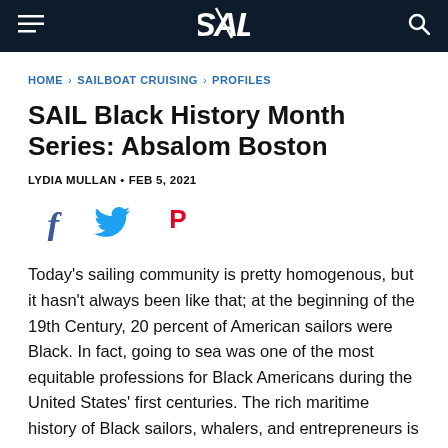SAIL
HOME › SAILBOAT CRUISING › PROFILES
SAIL Black History Month Series: Absalom Boston
LYDIA MULLAN • FEB 5, 2021
[Figure (other): Social media sharing icons: Facebook, Twitter, Pinterest]
Today's sailing community is pretty homogenous, but it hasn't always been like that; at the beginning of the 19th Century, 20 percent of American sailors were Black. In fact, going to sea was one of the most equitable professions for Black Americans during the United States' first centuries. The rich maritime history of Black sailors, whalers, and entrepreneurs is as